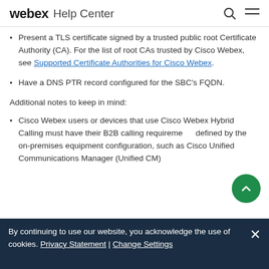webex Help Center
Present a TLS certificate signed by a trusted public root Certificate Authority (CA). For the list of root CAs trusted by Cisco Webex, see Supported Certificate Authorities for Cisco Webex.
Have a DNS PTR record configured for the SBC's FQDN.
Additional notes to keep in mind:
Cisco Webex users or devices that use Cisco Webex Hybrid Calling must have their B2B calling requirements defined by the on-premises equipment configuration, such as Cisco Unified Communications Manager (Unified CM)
By continuing to use our website, you acknowledge the use of cookies. Privacy Statement | Change Settings